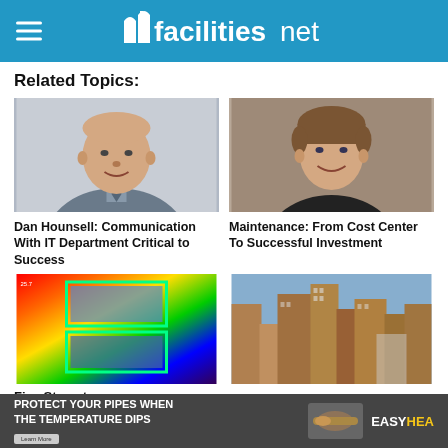facilitiesnet
Related Topics:
[Figure (photo): Headshot of Dan Hounsell, a man in a suit and tie]
Dan Hounsell: Communication With IT Department Critical to Success
[Figure (photo): Headshot of a smiling woman in dark blazer]
Maintenance: From Cost Center To Successful Investment
[Figure (photo): Thermal image of windows in a building interior showing heat loss]
[Figure (photo): Aerial view of city buildings and skyline]
Five Steps to...
PROTECT YOUR PIPES WHEN THE TEMPERATURE DIPS — EASYHEAT